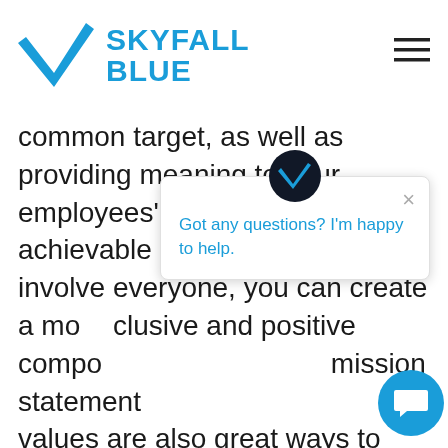SKYFALL BLUE
common target, as well as providing meaning to your employees' work. By setting achievable objectives that involve everyone, you can create a more inclusive and positive company culture. A clear mission statement and strong company values are also great ways to add meaning to your employees' roles to show them their work positively impacts your business.
[Figure (screenshot): Chat popup widget with Skyfall Blue avatar logo and message 'Got any questions? I'm happy to help.' with close button and blue chat bubble button]